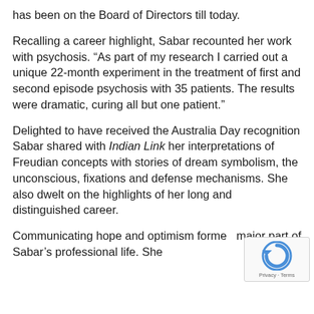has been on the Board of Directors till today.
Recalling a career highlight, Sabar recounted her work with psychosis. “As part of my research I carried out a unique 22-month experiment in the treatment of first and second episode psychosis with 35 patients. The results were dramatic, curing all but one patient.”
Delighted to have received the Australia Day recognition Sabar shared with Indian Link her interpretations of Freudian concepts with stories of dream symbolism, the unconscious, fixations and defense mechanisms. She also dwelt on the highlights of her long and distinguished career.
Communicating hope and optimism formed a major part of Sabar’s professional life. She